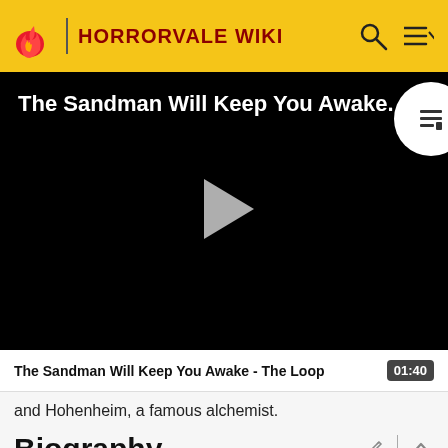HORRORVALE WIKI
[Figure (screenshot): Video player with black background showing title 'The Sandman Will Keep You Awake.' with a play button in the center and a playlist icon in the top right corner]
The Sandman Will Keep You Awake - The Loop  01:40
and Hohenheim, a famous alchemist.
Biography